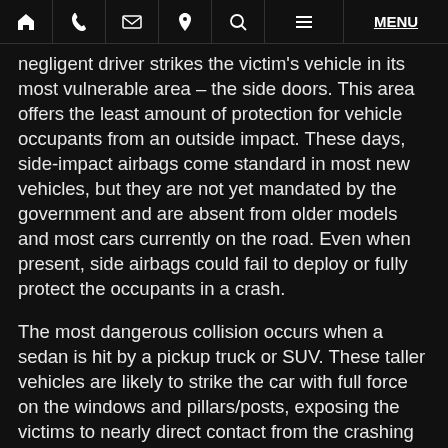🏠 📞 ✉ 📍 🔍 ≡ MENU
negligent driver strikes the victim's vehicle in its most vulnerable area – the side doors. This area offers the least amount of protection for vehicle occupants from an outside impact. These days, side-impact airbags come standard in most new vehicles, but they are not yet mandated by the government and are absent from older models and most cars currently on the road. Even when present, side airbags could fail to deploy or fully protect the occupants in a crash.
The most dangerous collision occurs when a sedan is hit by a pickup truck or SUV. These taller vehicles are likely to strike the car with full force on the windows and pillars/posts, exposing the victims to nearly direct contact from the crashing vehicle. If the oncoming vehicle is an 18-wheeler, the accident is likely to result in death or catastrophic injury.